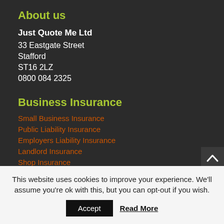About us
Just Quote Me Ltd
33 Eastgate Street
Stafford
ST16 2LZ
0800 084 2325
Business Insurance
Small Business Insurance
Public Liability Insurance
Employers Liability Insurance
Landlord Insurance
Shop Insurance
This website uses cookies to improve your experience. We'll assume you're ok with this, but you can opt-out if you wish.
Accept   Read More